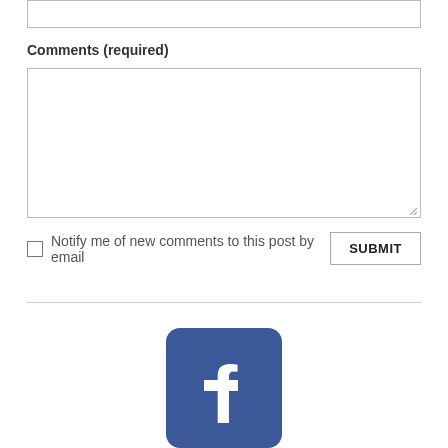Comments (required)
Notify me of new comments to this post by email
[Figure (logo): Facebook logo icon — rounded square with blue background and white lowercase f letterform]